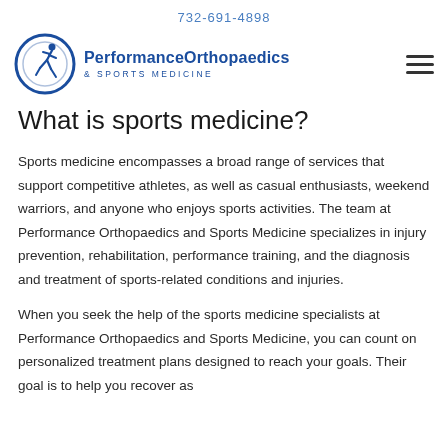732-691-4898
[Figure (logo): Performance Orthopaedics & Sports Medicine logo with running athlete icon in blue circle and brand name text]
What is sports medicine?
Sports medicine encompasses a broad range of services that support competitive athletes, as well as casual enthusiasts, weekend warriors, and anyone who enjoys sports activities. The team at Performance Orthopaedics and Sports Medicine specializes in injury prevention, rehabilitation, performance training, and the diagnosis and treatment of sports-related conditions and injuries.
When you seek the help of the sports medicine specialists at Performance Orthopaedics and Sports Medicine, you can count on personalized treatment plans designed to reach your goals. Their goal is to help you recover as